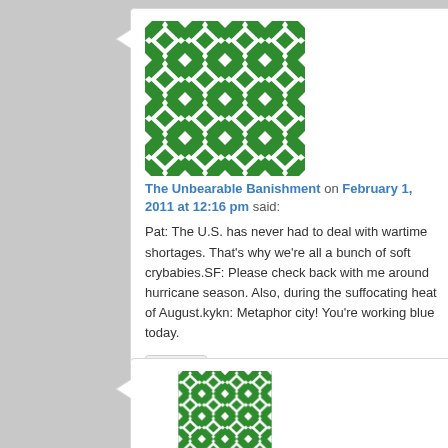[Figure (illustration): Green and white decorative pattern avatar image for The Unbearable Banishment]
The Unbearable Banishment on February 1, 2011 at 12:16 pm said:
Pat: The U.S. has never had to deal with wartime shortages. That's why we're all a bunch of soft crybabies.SF: Please check back with me around hurricane season. Also, during the suffocating heat of August.kykn: Metaphor city! You're working blue today.
Reply ↓
[Figure (illustration): Green and white decorative pattern avatar image (second comment)]